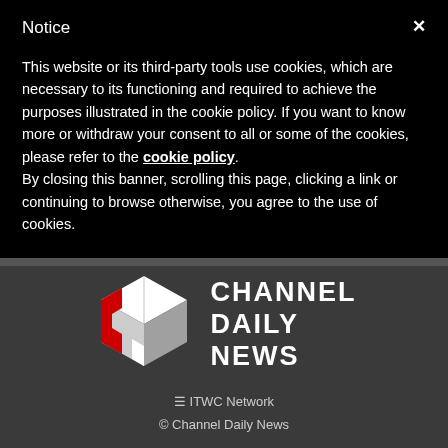Notice
This website or its third-party tools use cookies, which are necessary to its functioning and required to achieve the purposes illustrated in the cookie policy. If you want to know more or withdraw your consent to all or some of the cookies, please refer to the cookie policy.
By closing this banner, scrolling this page, clicking a link or continuing to browse otherwise, you agree to the use of cookies.
[Figure (logo): Channel Daily News logo — a 3D cube icon with red and white colors beside the text CHANNEL DAILY NEWS in white bold capitals]
ITWC Network
© Channel Daily News